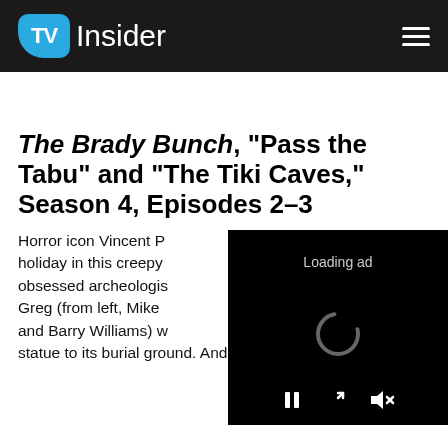TV Insider
The Brady Bunch, “Pass the Tabu” and “The Tiki Caves,” Season 4, Episodes 2–3
Horror icon Vincent P[rice joins the family for their big Hawaiian holiday in this creepy two-parter, playing a superstition-obsessed archeologist who wants to return a tiki Greg (from left, Mike Lookinland, Robert Reed, and Barry Williams) w[ound] statue to its burial ground. And here we thought
[Figure (screenshot): Loading ad video overlay with spinner animation and playback controls (pause, fullscreen, mute) on black background]